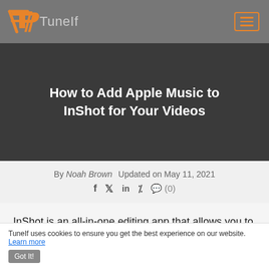Tunelf
How to Add Apple Music to InShot for Your Videos
By Noah Brown   Updated on May 11, 2021
InShot is an all-in-one editing app that allows you to create videos, create pictures collage, or edit images.
Tunelf uses cookies to ensure you get the best experience on our website. Learn more  Got It!